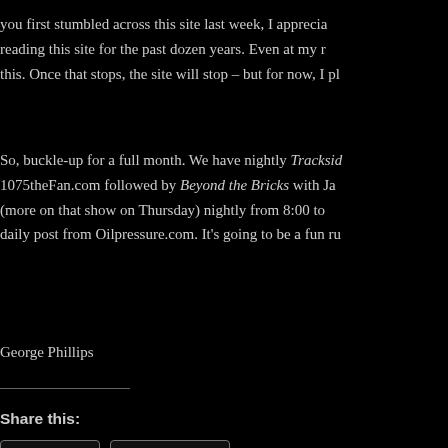you first stumbled across this site last week, I appreci… reading this site for the past dozen years. Even at my r… this. Once that stops, the site will stop – but for now, I pl…
So, buckle-up for a full month. We have nightly Tracksid… 1075theFan.com followed by Beyond the Bricks with Ja… (more on that show on Thursday) nightly from 8:00 to… daily post from Oilpressure.com. It's going to be a fun ru…
George Phillips
Share this:
Loading...
Related
Welcome To The Month Of May!
May 1, 2012
In "Indianapolis 500"
2012 Indian… Contest
May 4, 201…